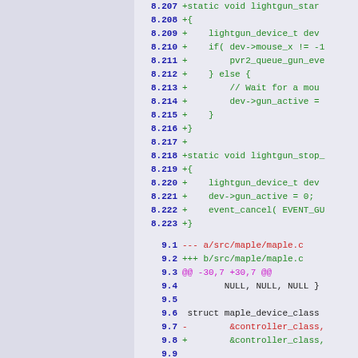[Figure (screenshot): Source code diff viewer showing two file patches. Left panel is gray/lavender background. Right panel shows diff lines numbered 8.207-8.223 (green additions for lightgun_start function) and 9.1-9.12 (mixed diff for maple.c file).]